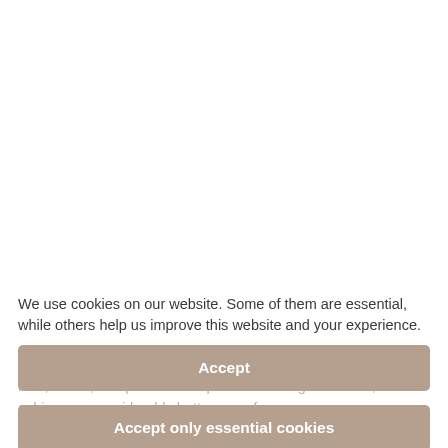We use cookies on our website. Some of them are essential, while others help us improve this website and your experience.
storage racks that can be moved electrically on flush-to-floor rails, which, compared to the previous storage situation, achieves a considerably better use of space and space, as only one rack aisle has to be opened to remove the stored goods. In relation to the previous
Accept
Accept only essential cookies